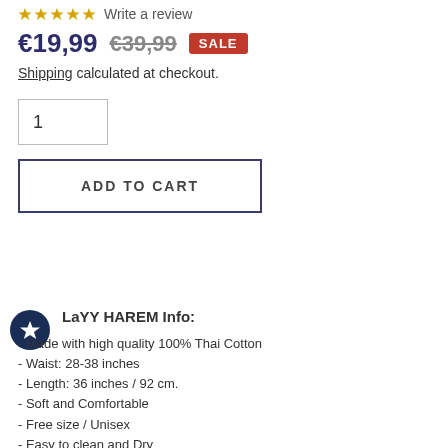★★★★★ Write a review
€19,99  €39,99  SALE
Shipping calculated at checkout.
1
ADD TO CART
LaYY HAREM Info:
- Made with high quality 100% Thai Cotton
- Waist: 28-38 inches
- Length: 36 inches / 92 cm.
- Soft and Comfortable
- Free size / Unisex
- Easy to clean and Dry
- 100% made in Thailand / Best price Guarantee